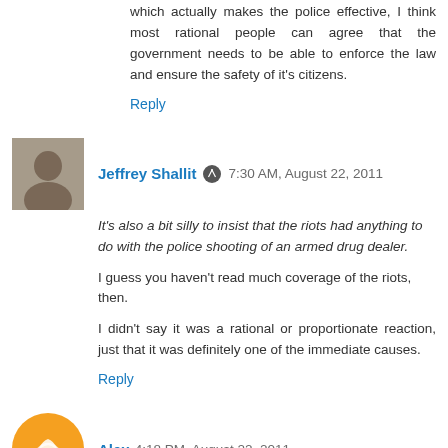which actually makes the police effective, I think most rational people can agree that the government needs to be able to enforce the law and ensure the safety of it's citizens.
Reply
Jeffrey Shallit  7:30 AM, August 22, 2011
It's also a bit silly to insist that the riots had anything to do with the police shooting of an armed drug dealer.
I guess you haven't read much coverage of the riots, then.
I didn't say it was a rational or proportionate reaction, just that it was definitely one of the immediate causes.
Reply
Alex  4:18 PM, August 22, 2011
I did follow the coverage - I just disagree with that assessment. You could say that the police shooting was a